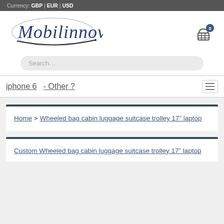Currency: GBP | EUR | USD
[Figure (logo): Mobilinnov logo in blue italic cursive script with oval ellipse and swoosh underline]
[Figure (other): Shopping cart icon with badge showing 0]
Search...
iphone 6  - Other ?
Home > Wheeled bag cabin luggage suitcase trolley 17" laptop
Custom Wheeled bag cabin luggage suitcase trolley 17" laptop